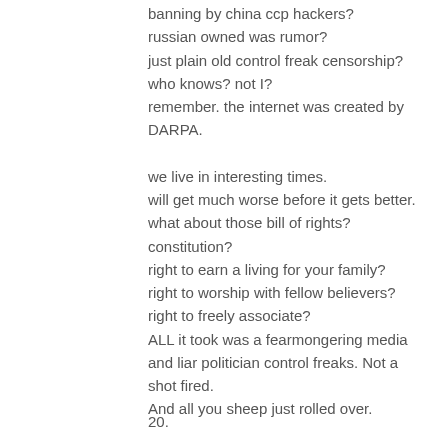banning by china ccp hackers?
russian owned was rumor?
just plain old control freak censorship?
who knows? not I?
remember. the internet was created by DARPA.

we live in interesting times.
will get much worse before it gets better.
what about those bill of rights?
constitution?
right to earn a living for your family?
right to worship with fellow believers?
right to freely associate?
ALL it took was a fearmongering media and liar politician control freaks. Not a shot fired.
And all you sheep just rolled over.
20.